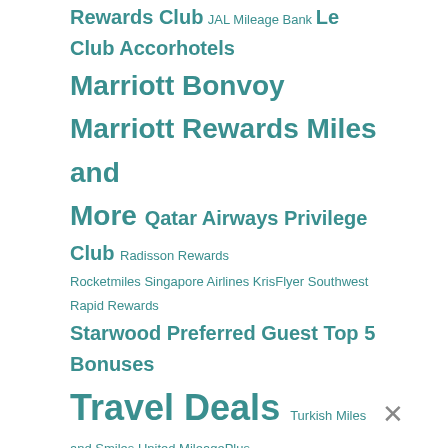Rewards Club JAL Mileage Bank Le Club Accorhotels Marriott Bonvoy Marriott Rewards Miles and More Qatar Airways Privilege Club Radisson Rewards Rocketmiles Singapore Airlines KrisFlyer Southwest Rapid Rewards Starwood Preferred Guest Top 5 Bonuses Travel Deals Turkish Miles and Smiles United MileagePlus United Mileage Plus US Airways Dividend Miles Virgin Atlantic Flying Club Virgin Australia Velocity Rewards World of Hyatt Wyndham Rewards
About
Frequent Flyer Bonuses is the Internet's premier resource for promotions from over 170 travel related loyalty programs from around the World. Our main site is FrequentFlyerBonuses.com and the blog here provides a great summary of the offers we post to